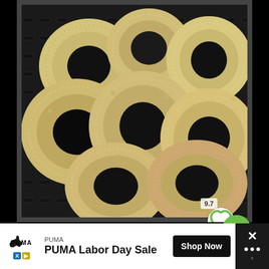[Figure (photo): Breaded onion rings arranged in an air fryer basket, viewed from above. The onion rings are coated in a thick breadcrumb/panko coating and placed on the dark mesh grill of the air fryer basket. A heart/favorite button (white circle) and a green search button are overlaid in the lower right corner. A rating score of '9.7' appears near the lower right.]
PUMA
PUMA Labor Day Sale
Shop Now